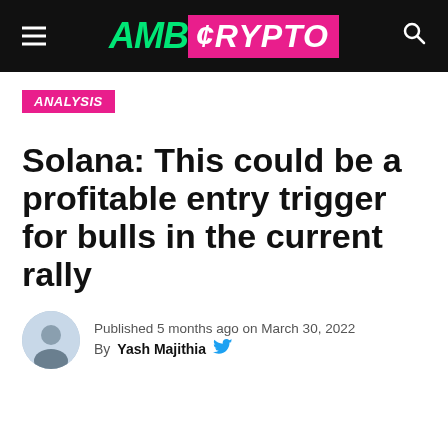[Figure (logo): AMBCrypto navigation bar with hamburger menu, AMB green italic logo, CRYPTO pink background logo, and search icon on black background]
ANALYSIS
Solana: This could be a profitable entry trigger for bulls in the current rally
Published 5 months ago on March 30, 2022
By Yash Majithia